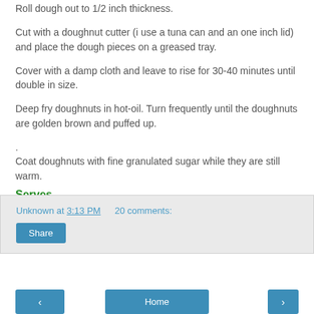Roll dough out to 1/2 inch thickness.
Cut with a doughnut cutter (i use a tuna can and an one inch lid) and place the dough pieces on a greased tray.
Cover with a damp cloth and leave to rise for 30-40 minutes until double in size.
Deep fry doughnuts in hot-oil. Turn frequently until the doughnuts are golden brown and puffed up.
.
Coat doughnuts with fine granulated sugar while they are still warm.
Serves
Unknown at 3:13 PM   20 comments:
Share
< Home >